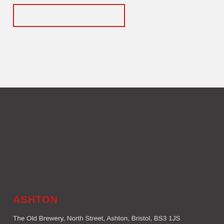[Figure (other): Red outlined empty rectangle box on light grey background]
ASHTON
The Old Brewery, North Street, Ashton, Bristol, BS3 1JS
Regular Opening Hours:
| Day | Hours |
| --- | --- |
| Mon | 05:30 - 22:30 |
| Tue | 05:30 - 22:30 |
| Wed | 05:30 - 22:30 |
| Thu | 05:30 - 22:30 |
| Fri | 05:30 - 01:00 |